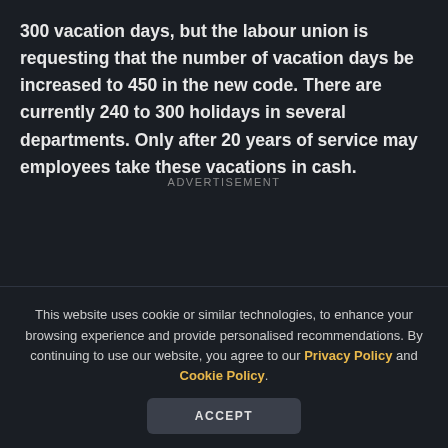300 vacation days, but the labour union is requesting that the number of vacation days be increased to 450 in the new code. There are currently 240 to 300 holidays in several departments. Only after 20 years of service may employees take these vacations in cash.
ADVERTISEMENT
This website uses cookie or similar technologies, to enhance your browsing experience and provide personalised recommendations. By continuing to use our website, you agree to our Privacy Policy and Cookie Policy.
ACCEPT